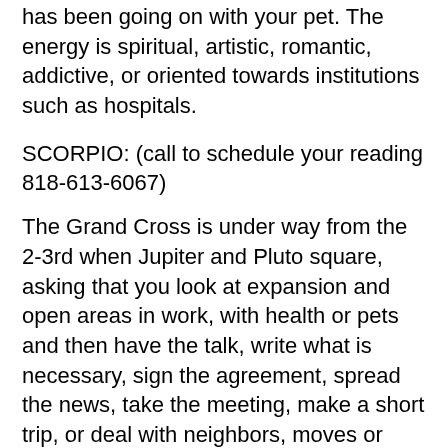has been going on with your pet. The energy is spiritual, artistic, romantic, addictive, or oriented towards institutions such as hospitals.
SCORPIO: (call to schedule your reading 818-613-6067)
The Grand Cross is under way from the 2-3rd when Jupiter and Pluto square, asking that you look at expansion and open areas in work, with health or pets and then have the talk, write what is necessary, sign the agreement, spread the news, take the meeting, make a short trip, or deal with neighbors, moves or siblings in the matter. Something powerful needs to deconstruct here to be rebuilt on better terms.